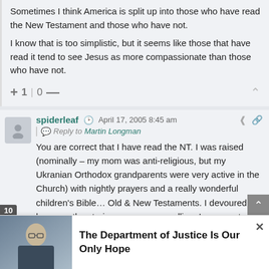Sometimes I think America is split up into those who have read the New Testament and those who have not.
I know that is too simplistic, but it seems like those that have read it tend to see Jesus as more compassionate than those who have not.
+ 1 | 0 —
spiderleaf  April 17, 2005 8:45 am
Reply to  Martin Longman
You are correct that I have read the NT. I was raised (nominally – my mom was anti-religious, but my Ukranian Orthodox grandparents were very active in the Church) with nightly prayers and a really wonderful children's Bible… Old & New Testaments. I devoured it because the stories were so compelling. I never actually believed I don't think at any
[Figure (infographic): Promotional banner showing a photo of a man (Merrick Garland) with a crowd/official setting background, with text 'The Department of Justice Is Our Only Hope']
The Department of Justice Is Our Only Hope